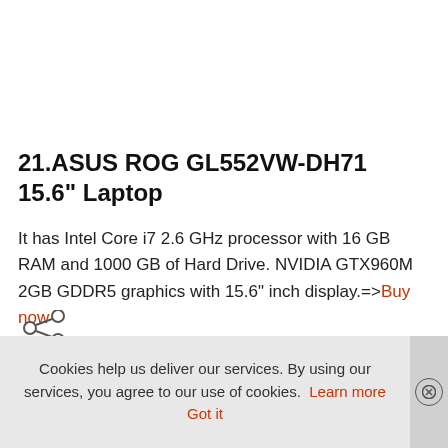21.ASUS ROG GL552VW-DH71 15.6" Laptop
It has Intel Core i7 2.6 GHz processor with 16 GB RAM and 1000 GB of Hard Drive. NVIDIA GTX960M 2GB GDDR5 graphics with 15.6" inch display.=>Buy now
[Figure (other): Share icon (social sharing button)]
Cookies help us deliver our services. By using our services, you agree to our use of cookies. Learn more   Got it